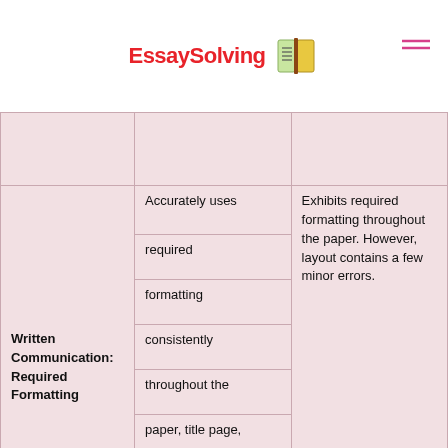EssaySolving
|  |  |  |
| --- | --- | --- |
|  |  |  |
| Written
Communication:
Required
Formatting | Accurately uses required formatting consistently throughout the paper, title page, and reference page. | Exhibits required formatting throughout the paper. However, layout contains a few minor errors. |
|  |  |  |
|  |  |  |